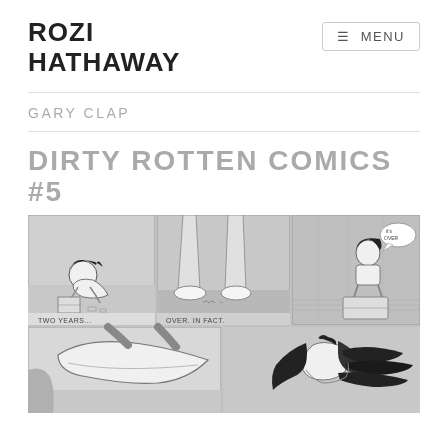ROZI HATHAWAY
≡ MENU
GARY CLAP
DIRTY ROTTEN COMICS #5
[Figure (illustration): Comic strip panels showing black and white illustrations: top row has three panels — a girl crouching on floor with a box (caption 'TWO YEARS...'), close-up of feet/legs (caption 'OVER. IN FACT.'), and a girl sitting on luggage with speech bubble; bottom row has two panels — shoes/feet close-up, and a girl with dark hair blowing in wind.]